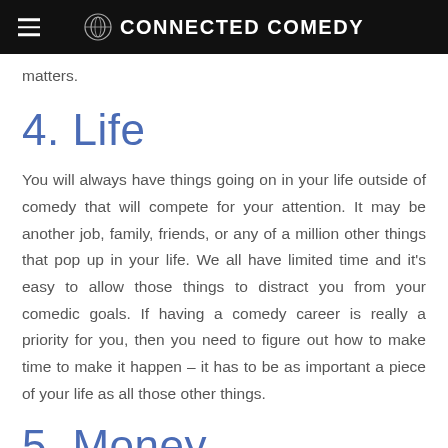CONNECTED COMEDY
matters.
4. Life
You will always have things going on in your life outside of comedy that will compete for your attention. It may be another job, family, friends, or any of a million other things that pop up in your life. We all have limited time and it’s easy to allow those things to distract you from your comedic goals. If having a comedy career is really a priority for you, then you need to figure out how to make time to make it happen – it has to be as important a piece of your life as all those other things.
5. Money